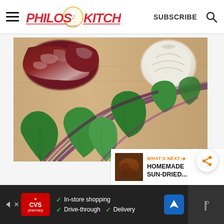Philos Kitchen — SUBSCRIBE
[Figure (photo): Close-up photo of fresh mint leaves with raw lamb/beef meat pieces and a garlic bulb on a wooden cutting board]
WHAT'S NEXT → HOMEMADE SUN-DRIED...
[Figure (infographic): Advertisement bar for CVS Pharmacy with options: In-store shopping, Drive-through, Delivery]